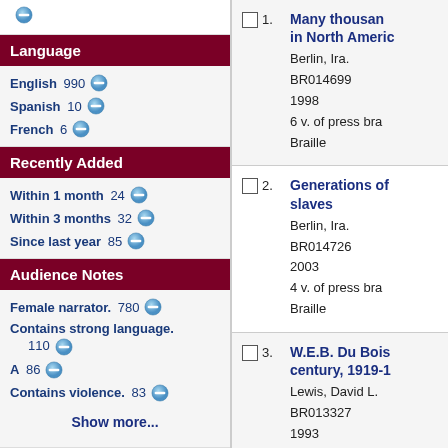Language
English 990
Spanish 10
French 6
Recently Added
Within 1 month 24
Within 3 months 32
Since last year 85
Audience Notes
Female narrator. 780
Contains strong language. 110
A 86
Contains violence. 83
Show more...
Many thousand in North America
Berlin, Ira.
BR014699
1998
6 v. of press bra
Braille
Generations of slaves
Berlin, Ira.
BR014726
2003
4 v. of press bra
Braille
W.E.B. Du Bois century, 1919-1
Lewis, David L.
BR013327
1993